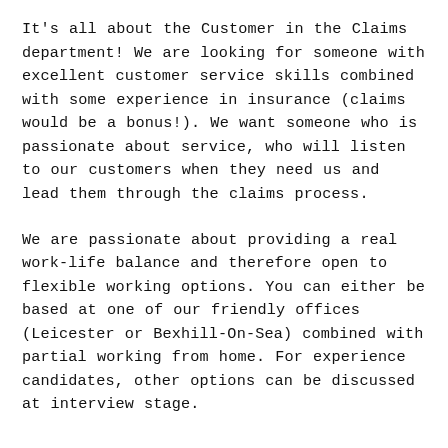It's all about the Customer in the Claims department! We are looking for someone with excellent customer service skills combined with some experience in insurance (claims would be a bonus!). We want someone who is passionate about service, who will listen to our customers when they need us and lead them through the claims process.
We are passionate about providing a real work-life balance and therefore open to flexible working options. You can either be based at one of our friendly offices (Leicester or Bexhill-On-Sea) combined with partial working from home. For experience candidates, other options can be discussed at interview stage.